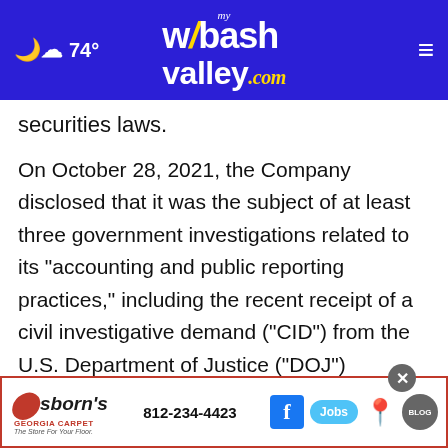74° | mywabashvalley.com
securities laws.
On October 28, 2021, the Company disclosed that it was the subject of at least three government investigations related to its "accounting and public reporting practices," including the recent receipt of a civil investigative demand ("CID") from the U.S. Department of Justice ("DOJ") requesting the Company produce documents in connection with t... n. On this m...
[Figure (other): Advertisement for Osborn's Georgia Carpet with phone number 812-234-4423, Facebook icon, Jobs button, map pin, and Blog icon]